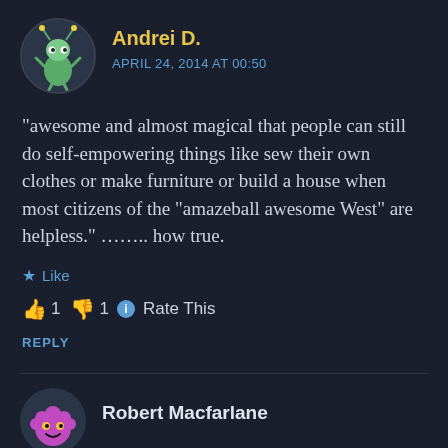[Figure (illustration): Circular avatar with cartoon alien/insect character on dark background — first commenter Andrei D.]
Andrei D.
APRIL 24, 2014 AT 00:50
“awesome and almost magical that people can still do self-empowering things like sew their own clothes or make furniture or build a house when most citizens of the “amazeball awesome West” are helpless.” …….. how true.
★ Like
👍 1 👎 1 ⓘ Rate This
REPLY
[Figure (illustration): Circular avatar with cartoon pink/purple blob monster character — second commenter Robert Macfarlane]
Robert Macfarlane